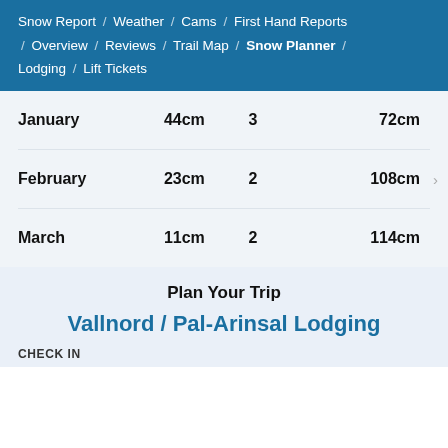Snow Report / Weather / Cams / First Hand Reports / Overview / Reviews / Trail Map / Snow Planner / Lodging / Lift Tickets
| Month | Snowfall | Days | Base |
| --- | --- | --- | --- |
| January | 44cm | 3 | 72cm |
| February | 23cm | 2 | 108cm |
| March | 11cm | 2 | 114cm |
Plan Your Trip
Vallnord / Pal-Arinsal Lodging
CHECK IN